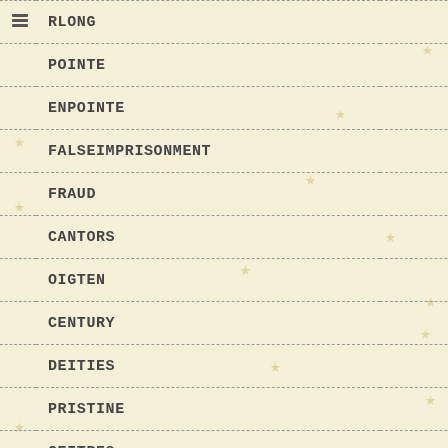|  | Term | Count |
| --- | --- | --- |
| ≡ | RLONG | 1 |
|  | POINTE | 1 |
|  | ENPOINTE | 1 |
|  | FALSEIMPRISONMENT | 1 |
|  | FRAUD | 1 |
|  | CANTORS | 1 |
|  | OIGTEN | 1 |
|  | CENTURY | 1 |
|  | DEITIES | 1 |
|  | PRISTINE | 1 |
|  | CEITRES | 1 |
|  | CEITERS | 1 |
|  | TOEINGTHELINE | 1 |